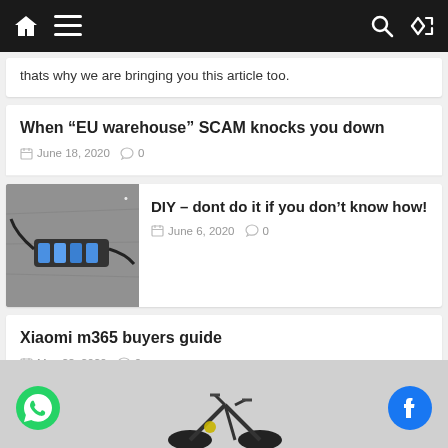Navigation bar with home, menu, search, and shuffle icons
thats why we are bringing you this article too.
When “EU warehouse” SCAM knocks you down
June 18, 2020  0
[Figure (photo): Photo of a damaged/burnt electronic component (appears to be a battery or circuit board) lying on concrete ground]
DIY – dont do it if you don’t know how!
June 6, 2020  0
Xiaomi m365 buyers guide
May 22, 2020  0
[Figure (photo): Bottom section showing partial image of an electric bicycle/scooter, WhatsApp button on the left, Facebook button on the right]